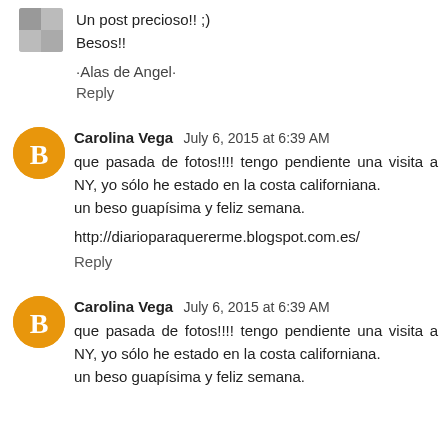Un post precioso!! ;)
Besos!!
·Alas de Angel·
Reply
Carolina Vega  July 6, 2015 at 6:39 AM
que pasada de fotos!!!! tengo pendiente una visita a NY, yo sólo he estado en la costa californiana.
un beso guapísima y feliz semana.
http://diarioparaquererme.blogspot.com.es/
Reply
Carolina Vega  July 6, 2015 at 6:39 AM
que pasada de fotos!!!! tengo pendiente una visita a NY, yo sólo he estado en la costa californiana.
un beso guapísima y feliz semana.